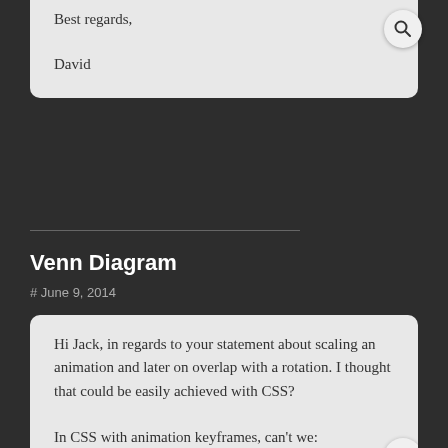Best regards,

David
Venn Diagram
# June 9, 2014
Hi Jack, in regards to your statement about scaling an animation and later on overlap with a rotation. I thought that could be easily achieved with CSS?

In CSS with animation keyframes, can't we:

0% transform: scale(0) rotate(0deg)
40% transform: scale(0.5) rotate(0deg)